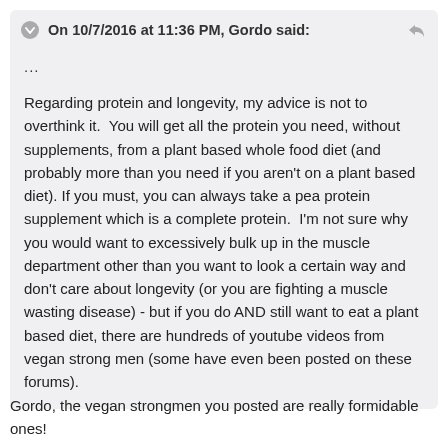On 10/7/2016 at 11:36 PM, Gordo said:
...
Regarding protein and longevity, my advice is not to overthink it. You will get all the protein you need, without supplements, from a plant based whole food diet (and probably more than you need if you aren't on a plant based diet). If you must, you can always take a pea protein supplement which is a complete protein. I'm not sure why you would want to excessively bulk up in the muscle department other than you want to look a certain way and don't care about longevity (or you are fighting a muscle wasting disease) - but if you do AND still want to eat a plant based diet, there are hundreds of youtube videos from vegan strong men (some have even been posted on these forums).
Gordo, the vegan strongmen you posted are really formidable ones!